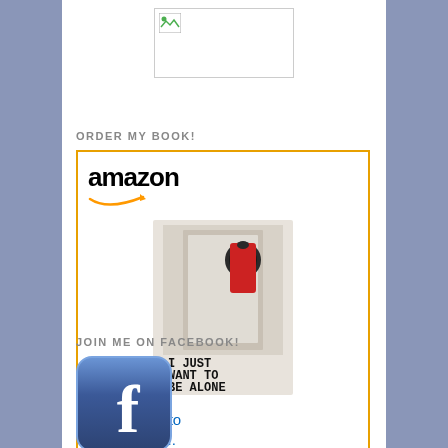[Figure (illustration): Broken image placeholder at top of sidebar]
ORDER MY BOOK!
[Figure (illustration): Amazon widget showing book 'I Just Want to Be Alone (I...)' priced at $14.98 with Prime badge and Shop now button]
I Just Want to Be Alone (I...
$14.98  ✓Prime
JOIN ME ON FACEBOOK!
[Figure (logo): Facebook logo icon — blue rounded square with white 'f']